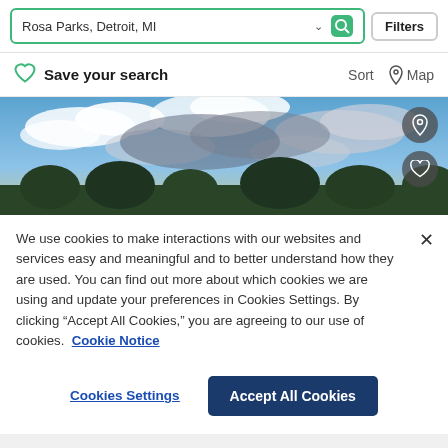Rosa Parks, Detroit, MI  Filters
Save your search  Sort  Map
[Figure (photo): Sky photo with blue sky, white clouds, and dark green trees at the bottom]
We use cookies to make interactions with our websites and services easy and meaningful and to better understand how they are used. You can find out more about which cookies we are using and update your preferences in Cookies Settings. By clicking “Accept All Cookies,” you are agreeing to our use of cookies. Cookie Notice
Cookies Settings  Accept All Cookies